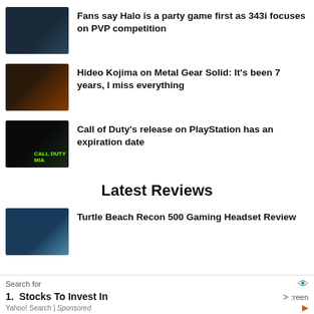Fans say Halo is a party game first as 343i focuses on PVP competition
Hideo Kojima on Metal Gear Solid: It's been 7 years, I miss everything
Call of Duty's release on PlayStation has an expiration date
Latest Reviews
Turtle Beach Recon 500 Gaming Headset Review
Search for
1. Stocks To Invest In
Yahoo! Search | Sponsored